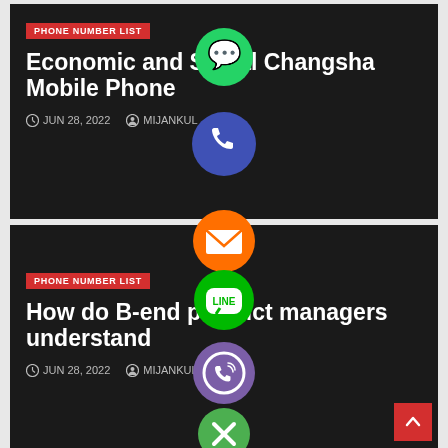[Figure (screenshot): Social sharing icons overlay (WhatsApp, phone/call, email, LINE, Viber, close) displayed as circular buttons over two article cards]
PHONE NUMBER LIST
Economic and Social Changsha Mobile Phone
JUN 28, 2022   MIJANKUL
PHONE NUMBER LIST
How do B-end product managers understand
JUN 28, 2022   MIJANKUL